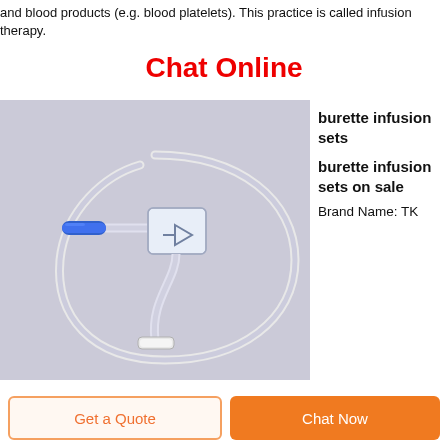and blood products (e.g. blood platelets). This practice is called infusion therapy.
Chat Online
[Figure (photo): A burette infusion set — clear plastic tubing looped in a circle with a central inline filter/valve component and a blue luer connector on one side, and a white connector tip at the bottom. Background is light grey/lavender.]
burette infusion sets burette infusion sets on sale Brand Name: TK
Get a Quote
Chat Now